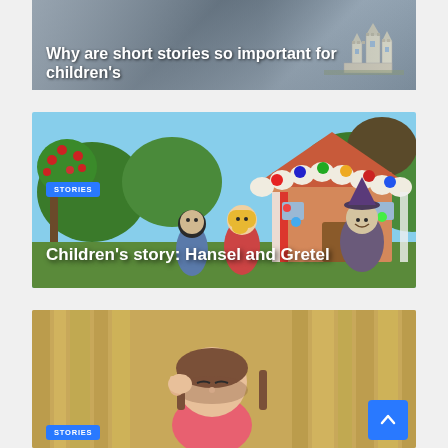[Figure (photo): Partial top card showing a blurred image with a castle illustration on the right side and title text overlay]
Why are short stories so important for children's
[Figure (illustration): Colorful cartoon illustration of Hansel and Gretel with a witch and gingerbread house in a forest with apple trees]
STORIES
Children's story: Hansel and Gretel
[Figure (photo): Partial bottom card showing a young girl with brown hair in a forest, hand near her ear]
STORIES